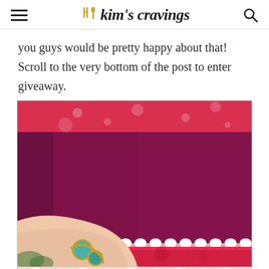kim's cravings
you guys would be pretty happy about that! Scroll to the very bottom of the post to enter giveaway.
[Figure (photo): Close-up photo of a woman wearing a maroon and hot pink dress with floral trim and scallop detail, along with a gold and teal druzy bracelet. Brick wall visible in background.]
[Figure (photo): Partially visible second photo showing a light pink outfit at the bottom of the page.]